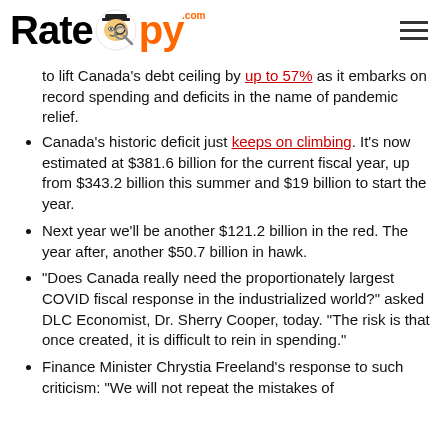RateSpy.com
to lift Canada's debt ceiling by up to 57% as it embarks on record spending and deficits in the name of pandemic relief.
Canada's historic deficit just keeps on climbing. It's now estimated at $381.6 billion for the current fiscal year, up from $343.2 billion this summer and $19 billion to start the year.
Next year we'll be another $121.2 billion in the red. The year after, another $50.7 billion in hawk.
“Does Canada really need the proportionately largest COVID fiscal response in the industrialized world?” asked DLC Economist, Dr. Sherry Cooper, today. “The risk is that once created, it is difficult to rein in spending.”
Finance Minister Chrystia Freeland’s response to such criticism: “We will not repeat the mistakes of